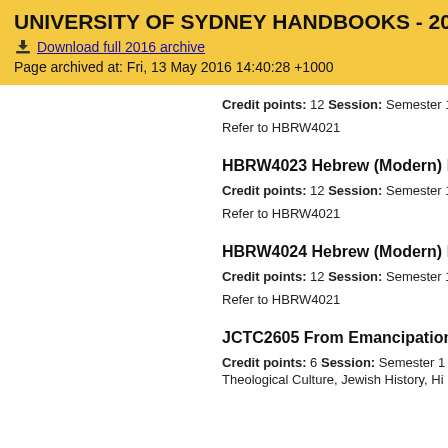UNIVERSITY OF SYDNEY HANDBOOKS - 2016
Download full 2016 archive
Page archived at: Fri, 13 May 2016 14:40:28 +1000
Credit points: 12 Session: Semester 1,Semester 2 C
Refer to HBRW4021
HBRW4023 Hebrew (Modern) Honours
Credit points: 12 Session: Semester 1,Semester 2 C
Refer to HBRW4021
HBRW4024 Hebrew (Modern) Honours
Credit points: 12 Session: Semester 1,Semester 2 C
Refer to HBRW4021
JCTC2605 From Emancipation to the H
Credit points: 6 Session: Semester 1 Classes: 1x2h Theological Culture, Jewish History, Histor